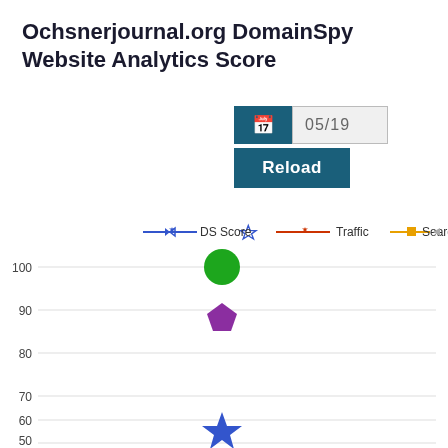Ochsnerjournal.org DomainSpy Website Analytics Score
[Figure (other): Date picker with calendar icon showing '05/19' and a teal Reload button below]
[Figure (scatter-plot): Ochsnerjournal.org DomainSpy Website Analytics Score]